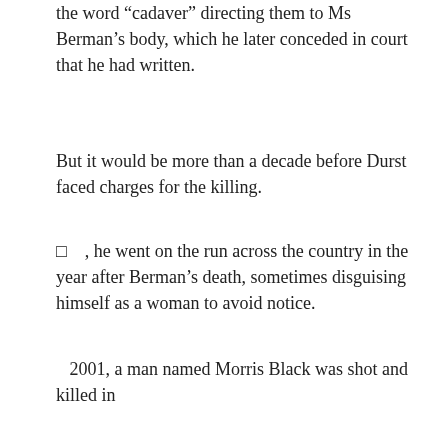Durst sent an anonymous letter to Los Angeles police with the word “cadaver” directing them to Ms Berman’s body, which he later conceded in court that he had written.
But it would be more than a decade before Durst faced charges for the killing.
□    , he went on the run across the country in the year after Berman’s death, sometimes disguising himself as a woman to avoid notice.
2001, a man named Morris Black was shot and killed in Durst’s Texas apartment. Durst claimed the death occurred when the two were have an argument and his gun accidentally went off. Black’s body was dismembered and dumped in Galveston Bay, and police arrested Durst on suspicion of murder.
He jumped bail and went on the run again, before being